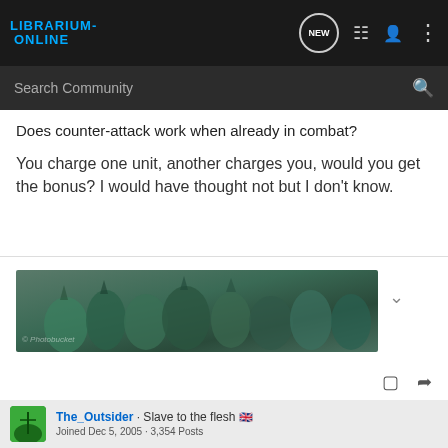LIBRARIUM-ONLINE
Search Community
Does counter-attack work when already in combat?
You charge one unit, another charges you, would you get the bonus? I would have thought not but I don't know.
[Figure (photo): Warhammer Fantasy miniatures — armored daemon-like warriors with teal/green coloring and horns. Photobucket watermark visible.]
The_Outsider · Slave to the flesh 🇬🇧
Joined Dec 5, 2005 · 3,354 Posts